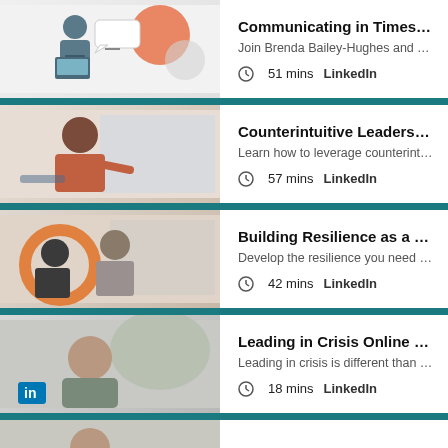[Figure (screenshot): Course thumbnail illustration: person presenting with laptop and speech bubbles]
Communicating in Times of Change V...
Join Brenda Bailey-Hughes and Tatiana Kolovou ...
51 mins   LinkedIn
[Figure (screenshot): Course thumbnail photo: woman in office setting]
Counterintuitive Leadership Strategie...
Learn how to leverage counterintuitive strategie...
57 mins   LinkedIn
[Figure (screenshot): Course thumbnail photo: two women talking in office]
Building Resilience as a Leader Online...
Develop the resilience you need to lead your te...
42 mins   LinkedIn
[Figure (screenshot): Course thumbnail photo: man with LinkedIn logo]
Leading in Crisis Online Class
Leading in crisis is different than leading in stabl...
18 mins   LinkedIn
[Figure (screenshot): Course thumbnail photo: partially visible, fifth course]